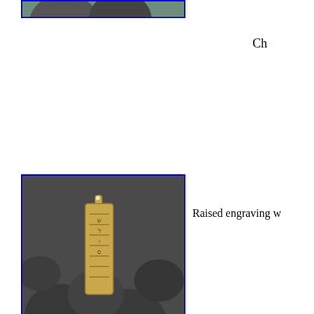[Figure (photo): Partial top of a photo showing a blue-bordered image, likely a pendant or jewelry item, cropped at the top of the page]
Ch
[Figure (photo): Gold rectangular pendant with raised Hebrew/decorative engraving, hanging on a bail, displayed on dark smooth stones with a white flower, blue border]
Raised engraving w
C
[Figure (photo): Rose gold rectangular pendant with raised Hebrew/decorative engraving on dark smooth stones with green leaves, blue border]
Raised eng